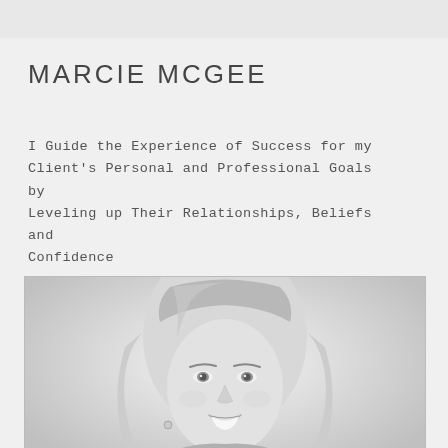MARCIE MCGEE
I Guide the Experience of Success for my Client's Personal and Professional Goals by Leveling up Their Relationships, Beliefs and Confidence
[Figure (photo): Black and white headshot portrait of Marcie McGee, a blonde woman smiling at the camera]